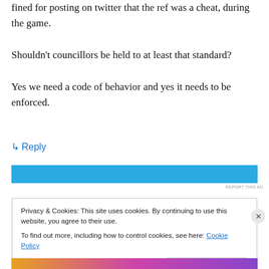fined for posting on twitter that the ref was a cheat, during the game. Shouldn't councillors be held to at least that standard?

Yes we need a code of behavior and yes it needs to be enforced.
↳ Reply
[Figure (other): Blue advertisement banner strip]
REPORT THIS AD
Privacy & Cookies: This site uses cookies. By continuing to use this website, you agree to their use. To find out more, including how to control cookies, see here: Cookie Policy
Close and accept